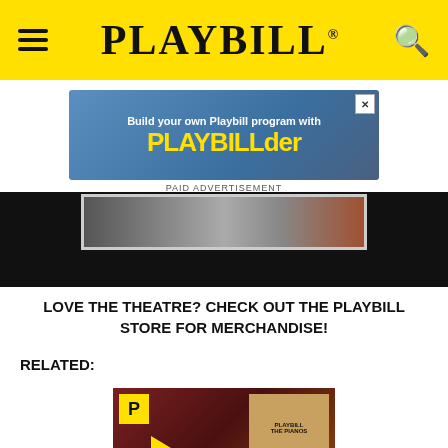PLAYBILL
[Figure (screenshot): Advertisement banner: Build your own Playbill program with PLAYBILLder. Blue background with yellow text.]
PAID ADVERTISEMENT
[Figure (photo): Dark stage or theater scene with a white-framed image and black background.]
LOVE THE THEATRE? CHECK OUT THE PLAYBILL STORE FOR MERCHANDISE!
RELATED:
[Figure (screenshot): Thumbnail video image showing a man smiling with a Playbill logo badge, a play button, and a bookshelf with Playbill programs in the background.]